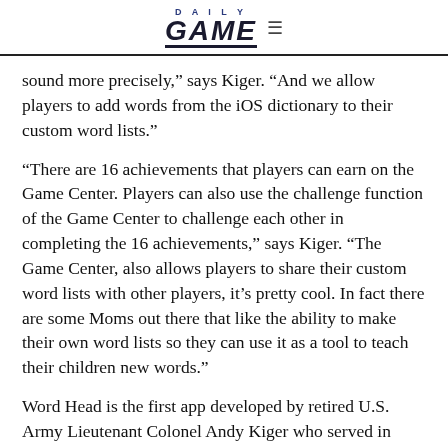DAILY GAME
sound more precisely," says Kiger. "And we allow players to add words from the iOS dictionary to their custom word lists."
“There are 16 achievements that players can earn on the Game Center. Players can also use the challenge function of the Game Center to challenge each other in completing the 16 achievements,” says Kiger. “The Game Center, also allows players to share their custom word lists with other players, it’s pretty cool. In fact there are some Moms out there that like the ability to make their own word lists so they can use it as a tool to teach their children new words.”
Word Head is the first app developed by retired U.S. Army Lieutenant Colonel Andy Kiger who served in Alaska and CONUS, to include an operational deployment in the Philippines and two combat tours